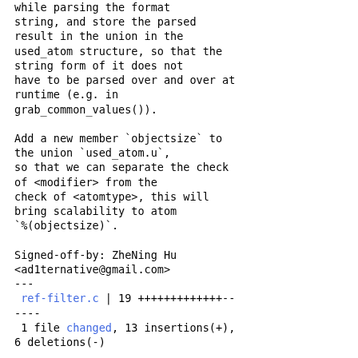while parsing the format string, and store the parsed result in the union in the used_atom structure, so that the string form of it does not have to be parsed over and over at runtime (e.g. in grab_common_values()).

Add a new member `objectsize` to the union `used_atom.u`, so that we can separate the check of <modifier> from the check of <atomtype>, this will bring scalability to atom `%(objectsize)`.

Signed-off-by: ZheNing Hu <ad1ternative@gmail.com>
---
 ref-filter.c | 19 +++++++++++++----
 1 file changed, 13 insertions(+), 6 deletions(-)

diff --git a/ref-filter.c b/ref-filter.c
index a0adb4551d87..f420bae6e5ba 100644
--- a/ref-filter.c